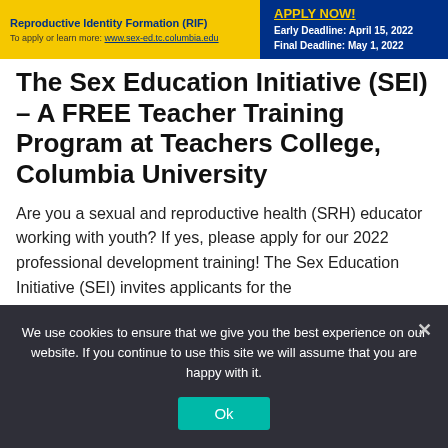[Figure (infographic): Yellow and dark blue banner with 'Reproductive Identity Formation (RIF)' title on the left, apply link below it, and 'APPLY NOW!' with deadlines on the right dark blue section.]
The Sex Education Initiative (SEI) – A FREE Teacher Training Program at Teachers College, Columbia University
Are you a sexual and reproductive health (SRH) educator working with youth? If yes, please apply for our 2022 professional development training! The Sex Education Initiative (SEI) invites applicants for the
We use cookies to ensure that we give you the best experience on our website. If you continue to use this site we will assume that you are happy with it.